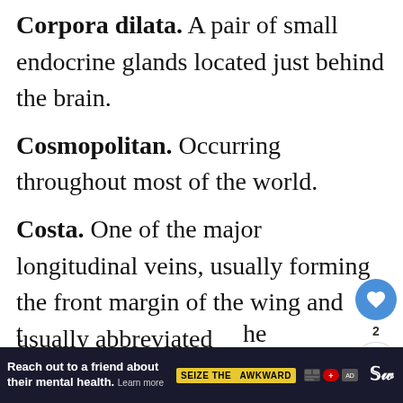Corpora dilatа. A pair of small endocrine glands located just behind the brain.
Cosmopolitan. Occurring throughout most of the world.
Costa. One of the major longitudinal veins, usually forming the front margin of the wing and usually abbreviated
[Figure (screenshot): UI overlay with heart icon (blue circle) showing count of 2, and share icon below]
[Figure (screenshot): What's Next banner showing parrot image and text 'Parrots: The Colorful Wor...']
[Figure (screenshot): Advertisement banner at bottom: 'Reach out to a friend about their mental health. Learn more' with 'SEIZE THE AWKWARD' badge]